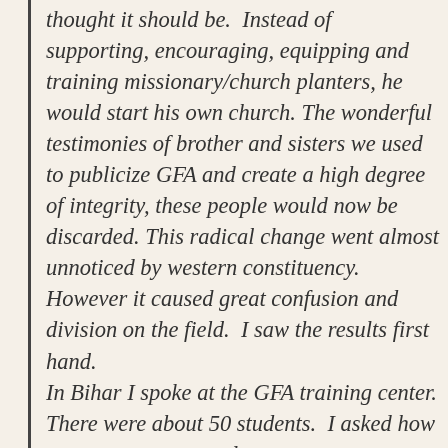thought it should be.  Instead of supporting, encouraging, equipping and training missionary/church planters, he would start his own church. The wonderful testimonies of brother and sisters we used to publicize GFA and create a high degree of integrity, these people would now be discarded. This radical change went almost unnoticed by western constituency.  However it caused great confusion and division on the field.  I saw the results first hand. In Bihar I spoke at the GFA training center. There were about 50 students.  I asked how many were converted to